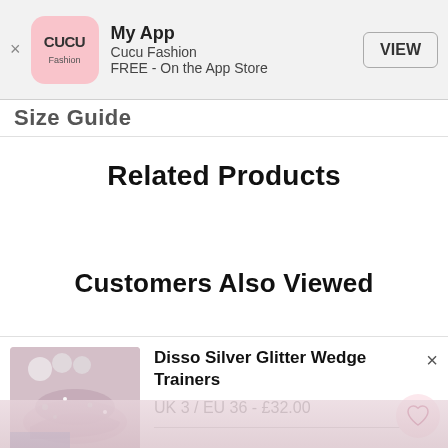[Figure (screenshot): App Store smart banner for Cucu Fashion 'My App' with app icon, name, publisher, price (FREE - On the App Store), and VIEW button]
Size Guide
Related Products
Customers Also Viewed
[Figure (photo): Product card showing Disso Silver Glitter Wedge Trainers with shoe photo, product name, size and price (UK 3 / EU 36 - £32.00), close button and heart/wishlist button]
[Figure (photo): Partially visible product image at bottom of page]